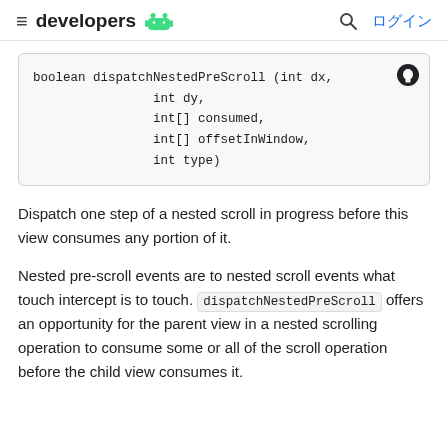≡  developers 🤖   🔍  ログイン
boolean dispatchNestedPreScroll (int dx,
                int dy,
                int[] consumed,
                int[] offsetInWindow,
                int type)
Dispatch one step of a nested scroll in progress before this view consumes any portion of it.
Nested pre-scroll events are to nested scroll events what touch intercept is to touch. dispatchNestedPreScroll offers an opportunity for the parent view in a nested scrolling operation to consume some or all of the scroll operation before the child view consumes it.